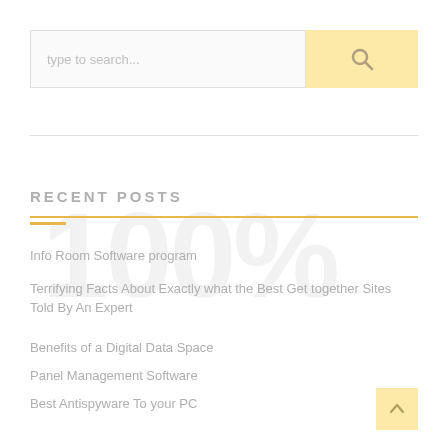[Figure (other): Search bar with text input placeholder 'type to search...' and a yellow/gold search button with magnifying glass icon on the right]
RECENT POSTS
Info Room Software program
Terrifying Facts About Exactly what the Best Get together Sites Told By An Expert
Benefits of a Digital Data Space
Panel Management Software
Best Antispyware To your PC